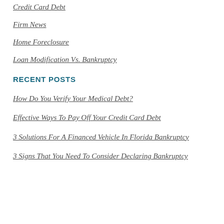Credit Card Debt
Firm News
Home Foreclosure
Loan Modification Vs. Bankruptcy
RECENT POSTS
How Do You Verify Your Medical Debt?
Effective Ways To Pay Off Your Credit Card Debt
3 Solutions For A Financed Vehicle In Florida Bankruptcy
3 Signs That You Need To Consider Declaring Bankruptcy